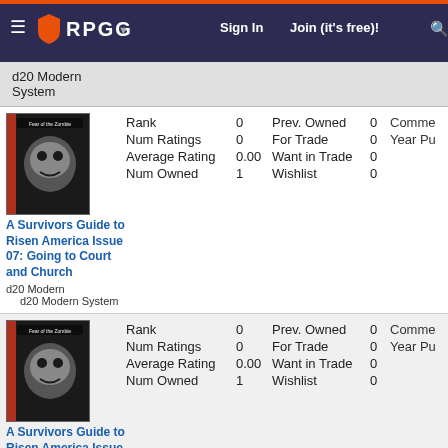RPGG — Sign In   Join (it's free)!
d20 Modern System
| Field | Value | Field | Value | Field |
| --- | --- | --- | --- | --- |
| Rank | 0 | Prev. Owned | 0 | Comme… |
| Num Ratings | 0 | For Trade | 0 | Year Pu… |
| Average Rating | 0.00 | Want in Trade | 0 |  |
| Num Owned | 1 | Wishlist | 0 |  |
A Survivors Guide to Risen America Issue 07: Going to Court and Church
d20 Modern
d20 Modern System
| Field | Value | Field | Value | Field |
| --- | --- | --- | --- | --- |
| Rank | 0 | Prev. Owned | 0 | Comme… |
| Num Ratings | 0 | For Trade | 0 | Year Pu… |
| Average Rating | 0.00 | Want in Trade | 0 |  |
| Num Owned | 1 | Wishlist | 0 |  |
A Survivors Guide to Risen America Issue